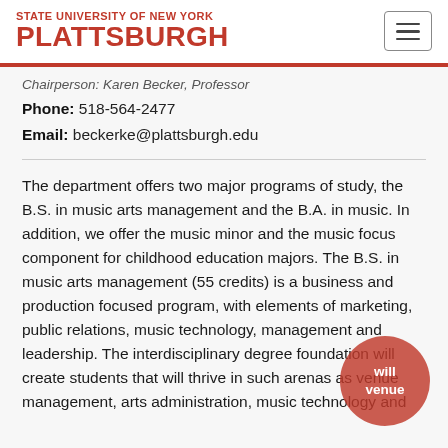STATE UNIVERSITY OF NEW YORK PLATTSBURGH
Chairperson: Karen Becker, Professor
Phone: 518-564-2477
Email: beckerke@plattsburgh.edu
The department offers two major programs of study, the B.S. in music arts management and the B.A. in music. In addition, we offer the music minor and the music focus component for childhood education majors. The B.S. in music arts management (55 credits) is a business and production focused program, with elements of marketing, public relations, music technology, management and leadership. The interdisciplinary degree foundation will create students that will thrive in such arenas as venue management, arts administration, music technology and